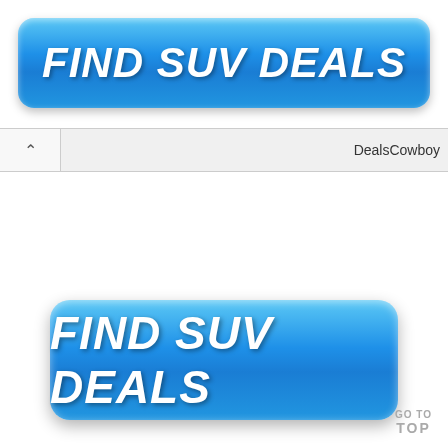[Figure (screenshot): Blue glossy button with white bold italic text reading FIND SUV DEALS, positioned at top of page]
DealsCowboy
[Figure (screenshot): Blue glossy button with white bold italic text reading FIND SUV DEALS, larger version positioned in lower half of page]
GO TO TOP